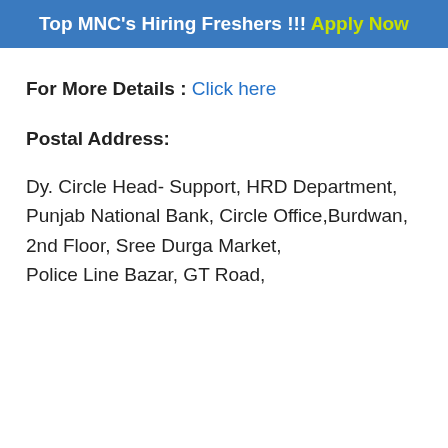Top MNC's Hiring Freshers !!! Apply Now
For More Details : Click here
Postal Address:
Dy. Circle Head- Support, HRD Department, Punjab National Bank, Circle Office,Burdwan, 2nd Floor, Sree Durga Market, Police Line Bazar, GT Road,